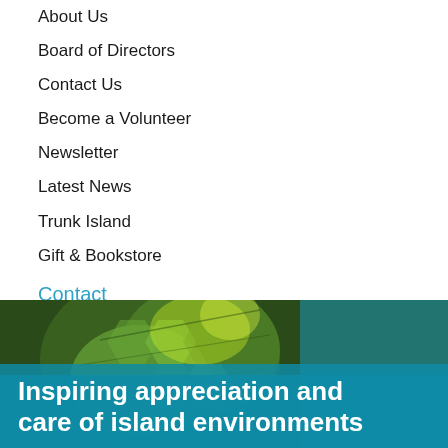About Us
Board of Directors
Contact Us
Become a Volunteer
Newsletter
Latest News
Trunk Island
Gift & Bookstore
Contact
General Inquiries
(441) 293-2727
info@bzs.bm
[Figure (photo): Close-up photograph of a green sea turtle shell with textured scales, overlaid with a teal banner containing white bold text]
Inspiring appreciation and care of island environments